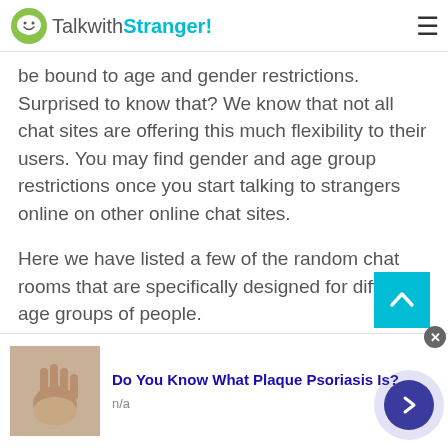TalkwithStranger!
be bound to age and gender restrictions. Surprised to know that? We know that not all chat sites are offering this much flexibility to their users. You may find gender and age group restrictions once you start talking to strangers online on other online chat sites.
Here we have listed a few of the random chat rooms that are specifically designed for different age groups of people.
[Figure (other): Scroll-to-top button, teal/cyan square with upward chevron arrow]
[Figure (other): Advertisement banner: image of hands/skin condition on left, title 'Do You Know What Plaque Psoriasis Is?' with source 'n/a', close button (x), and right-arrow navigation circle button]